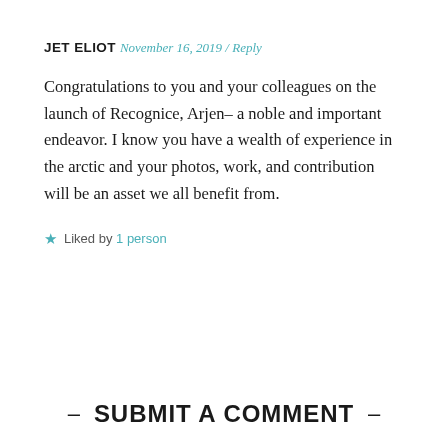JET ELIOT
November 16, 2019 / Reply
Congratulations to you and your colleagues on the launch of Recognice, Arjen– a noble and important endeavor. I know you have a wealth of experience in the arctic and your photos, work, and contribution will be an asset we all benefit from.
★ Liked by 1 person
– SUBMIT A COMMENT –